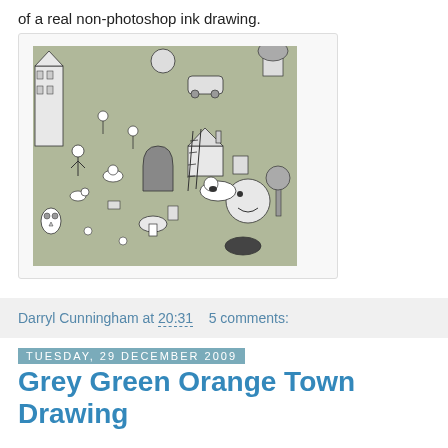of a real non-photoshop ink drawing.
[Figure (illustration): A detailed pen and ink style drawing featuring numerous cartoon characters, buildings, animals, and whimsical scenes packed together in a dense composition on a grey-green background.]
Darryl Cunningham at 20:31    5 comments:
Tuesday, 29 December 2009
Grey Green Orange Town Drawing
It's been awhile since I've tackled a big drawing. So here is one. Pencils, pen, and then photoshop for the colours.